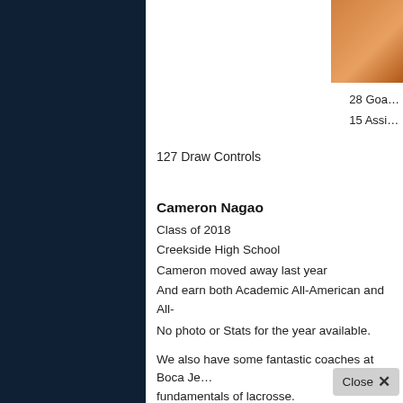[Figure (photo): Athlete in orange uniform, partially visible in top-right corner]
28 Goals
15 Assists
127 Draw Controls
Cameron Nagao
Class of 2018
Creekside High School
Cameron moved away last year
And earn both Academic All-American and All-
No photo or Stats for the year available.
We also have some fantastic coaches at Boca Je- fundamentals of lacrosse.